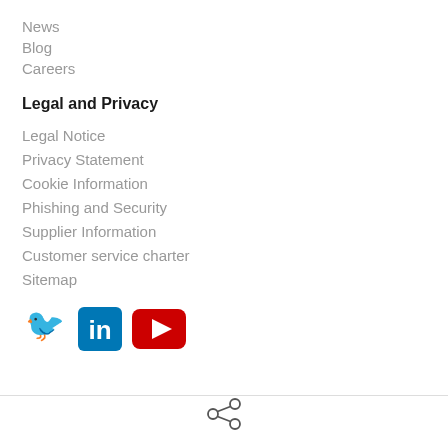News
Blog
Careers
Legal and Privacy
Legal Notice
Privacy Statement
Cookie Information
Phishing and Security
Supplier Information
Customer service charter
Sitemap
[Figure (logo): Social media icons: Twitter (blue bird), LinkedIn (blue square with 'in'), YouTube (red rectangle with play button)]
[Figure (other): Share icon (network/share symbol) at the bottom center of the page]